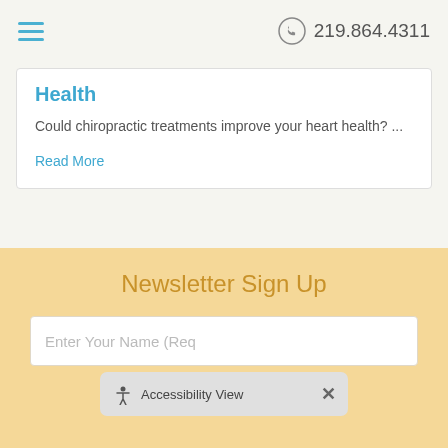219.864.4311
Health
Could chiropractic treatments improve your heart health? ...
Read More
[Figure (other): Pause button icon - circle with two vertical bars inside]
Newsletter Sign Up
Enter Your Name (Req
Accessibility View